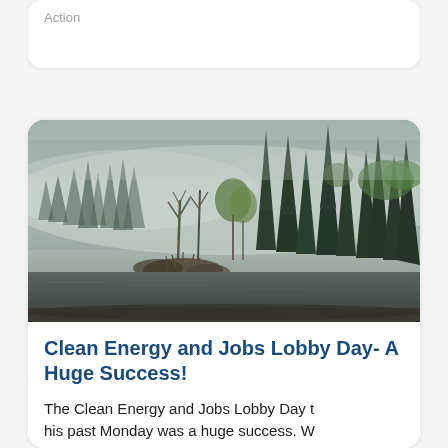Action
[Figure (photo): Misty boreal forest with tall evergreen trees and leafless birch trees beside a dark foggy lake]
Clean Energy and Jobs Lobby Day- A Huge Success!
The Clean Energy and Jobs Lobby Day t his past Monday was a huge success. W